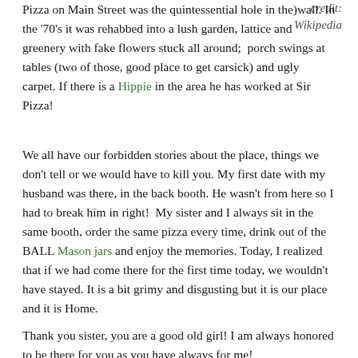credit: Wikipedia
Pizza on Main Street was the quintessential hole in the)wall. In the '70's it was rehabbed into a lush garden, lattice and greenery with fake flowers stuck all around;  porch swings at tables (two of those, good place to get carsick) and ugly carpet. If there is a Hippie in the area he has worked at Sir Pizza!
We all have our forbidden stories about the place, things we don't tell or we would have to kill you. My first date with my husband was there, in the back booth. He wasn't from here so I had to break him in right!  My sister and I always sit in the same booth, order the same pizza every time, drink out of the BALL Mason jars and enjoy the memories. Today, I realized that if we had come there for the first time today, we wouldn't have stayed. It is a bit grimy and disgusting but it is our place and it is Home.
Thank you sister, you are a good old girl! I am always honored to be there for you as you have always for me!